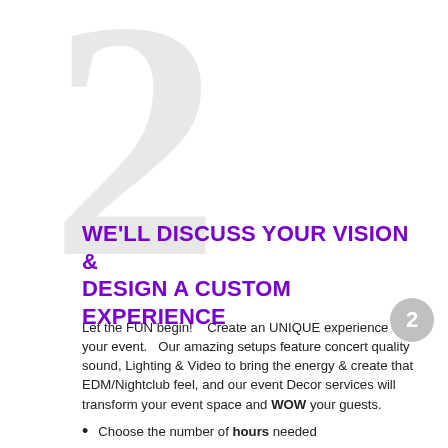WE'LL DISCUSS YOUR VISION & DESIGN A CUSTOM EXPERIENCE
Let the FUN begin!    Create an UNIQUE experience for your event.   Our amazing setups feature concert quality sound, Lighting & Video to bring the energy & create that EDM/Nightclub feel, and our event Decor services will transform your event space and WOW your guests.
Choose the number of hours needed